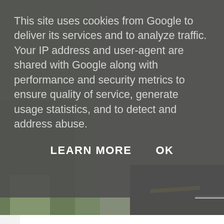[Figure (photo): Background photo of a road/pavement with yellow and white road markings, with green/nature area on the left side. Photo is partially obscured by a cookie consent overlay.]
This site uses cookies from Google to deliver its services and to analyze traffic. Your IP address and user-agent are shared with Google along with performance and security metrics to ensure quality of service, generate usage statistics, and to detect and address abuse.
LEARN MORE    OK
A day out with Thomas.
When they shout 'Mummmmmm' too many times I will try not to get long for someone to call my name when they are all back at school an When the noise level gets a little louder than I would like I will not te cherish the sound of small people playing and enjoying each others co
When I sit and think I need 5 minutes peace I will remember that whe September I will have way more than 5 minutes peace each week and just being annoying even if I feel a slight headache coming on.